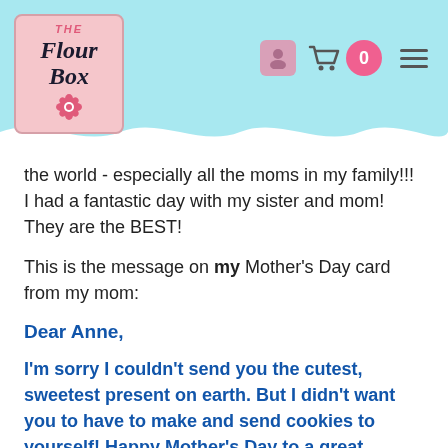The Flour Box
the world - especially all the moms in my family!!! I had a fantastic day with my sister and mom! They are the BEST!
This is the message on my Mother's Day card from my mom:
Dear Anne,
I'm sorry I couldn't send you the cutest, sweetest present on earth. But I didn't want you to have to make and send cookies to yourself! Happy Mother's Day to a great mother and daughter.
Love,
Mom
I have the best mom ever. She is so amazing. I just